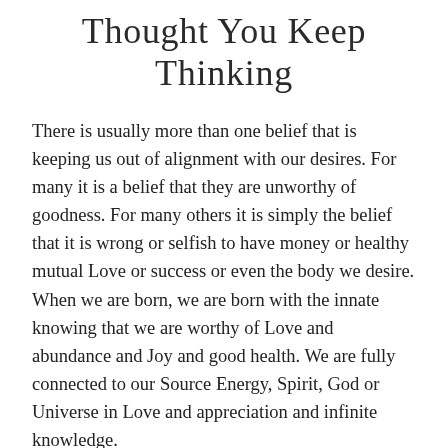Thought You Keep Thinking
There is usually more than one belief that is keeping us out of alignment with our desires. For many it is a belief that they are unworthy of goodness. For many others it is simply the belief that it is wrong or selfish to have money or healthy mutual Love or success or even the body we desire. When we are born, we are born with the innate knowing that we are worthy of Love and abundance and Joy and good health. We are fully connected to our Source Energy, Spirit, God or Universe in Love and appreciation and infinite knowledge.
As we get older the World depletes our passion, our desires, our will and our beliefs. This is done through media, school, religion and so forth. We are taught that